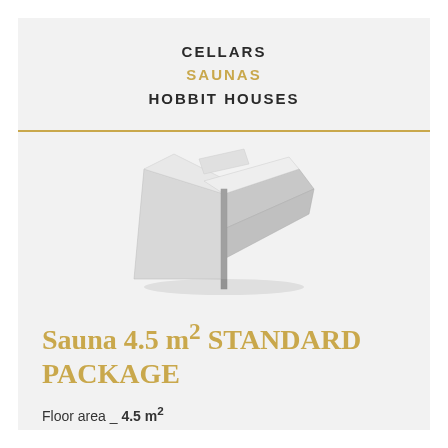CELLARS
SAUNAS
HOBBIT HOUSES
[Figure (photo): Photo of a wooden structure component, likely a sauna wall panel or prefab piece, light-colored wood, viewed from above at an angle on a light background.]
Sauna 4.5 m² STANDARD PACKAGE
Floor area _ 4.5 m²